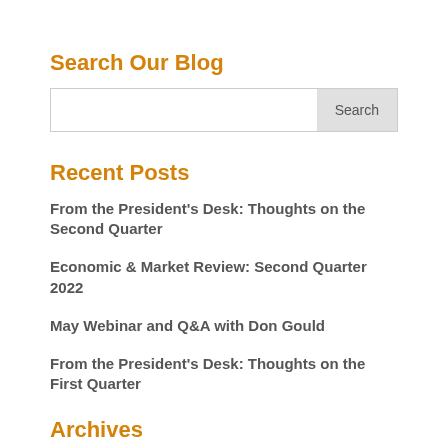Search Our Blog
Search
Recent Posts
From the President's Desk: Thoughts on the Second Quarter
Economic & Market Review: Second Quarter 2022
May Webinar and Q&A with Don Gould
From the President's Desk: Thoughts on the First Quarter
Archives